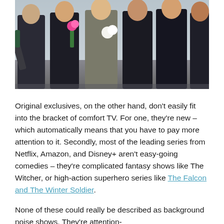[Figure (photo): A group of people in formal attire (dark suits and dresses) walking together, some holding champagne bottles and flowers.]
Original exclusives, on the other hand, don't easily fit into the bracket of comfort TV. For one, they're new – which automatically means that you have to pay more attention to it. Secondly, most of the leading series from Netflix, Amazon, and Disney+ aren't easy-going comedies – they're complicated fantasy shows like The Witcher, or high-action superhero series like The Falcon and The Winter Soldier.
None of these could really be described as background noise shows. They're attention-